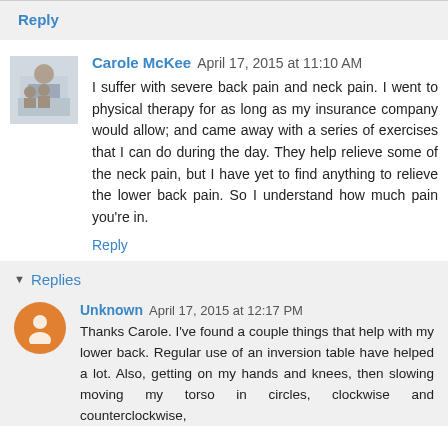Reply
Carole McKee  April 17, 2015 at 11:10 AM
I suffer with severe back pain and neck pain. I went to physical therapy for as long as my insurance company would allow; and came away with a series of exercises that I can do during the day. They help relieve some of the neck pain, but I have yet to find anything to relieve the lower back pain. So I understand how much pain you're in.
Reply
Replies
Unknown  April 17, 2015 at 12:17 PM
Thanks Carole. I've found a couple things that help with my lower back. Regular use of an inversion table have helped a lot. Also, getting on my hands and knees, then slowing moving my torso in circles, clockwise and counterclockwise,